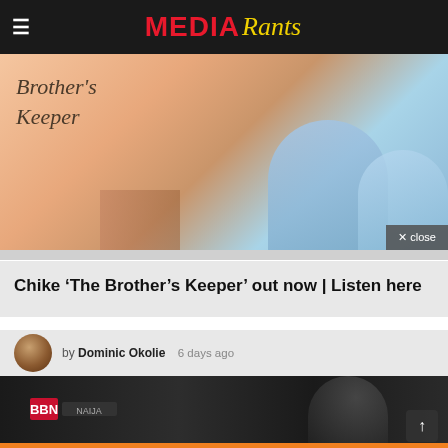MEDIA Rants
[Figure (photo): Brother's Keeper album/single cover artwork with two people in light blue clothing on a peach/beige background, with cursive text 'Brother's Keeper']
Chike 'The Brother's Keeper' out now | Listen here
by Dominic Okolie  6 days ago
[Figure (photo): Dark moody photo of a person in a suit holding something red, with BBN-related signage visible in the background]